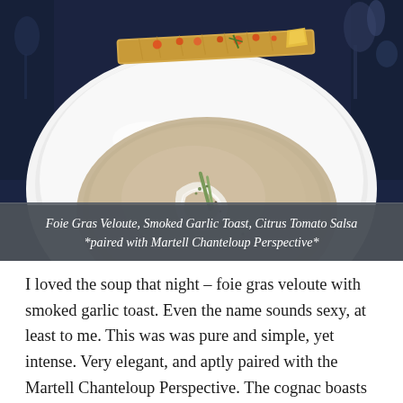[Figure (photo): A white bowl of foie gras veloute soup with a cream swirl and garnish, served on a white plate. A smoked garlic toast with citrus tomato salsa is visible at the top of the plate. Dark blue tablecloth and glassware in background.]
Foie Gras Veloute, Smoked Garlic Toast, Citrus Tomato Salsa *paired with Martell Chanteloup Perspective*
I loved the soup that night – foie gras veloute with smoked garlic toast. Even the name sounds sexy, at least to me. This was was pure and simple, yet intense. Very elegant, and aptly paired with the Martell Chanteloup Perspective. The cognac boasts a delicate smoothness, complex flavours and a lingering